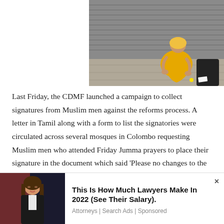[Figure (photo): A person dressed in yellow clothing sitting on a pavement near a wall]
Last Friday, the CDMF launched a campaign to collect signatures from Muslim men against the reforms process. A letter in Tamil along with a form to list the signatories were circulated across several mosques in Colombo requesting Muslim men who attended Friday Jumma prayers to place their signature in the document which said 'Please no changes to the Muslim Marriage and Divorce Act.'
[Figure (photo): Advertisement photo of a woman in business attire]
This Is How Much Lawyers Make In 2022 (See Their Salary). Attorneys | Search Ads | Sponsored